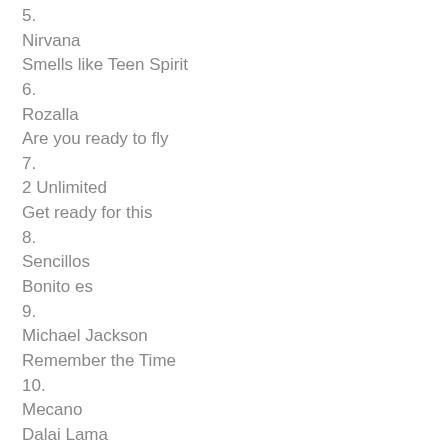5.
Nirvana
Smells like Teen Spirit
6.
Rozalla
Are you ready to fly
7.
2 Unlimited
Get ready for this
8.
Sencillos
Bonito es
9.
Michael Jackson
Remember the Time
10.
Mecano
Dalai Lama
11.
Snap
Colour of Love
12.